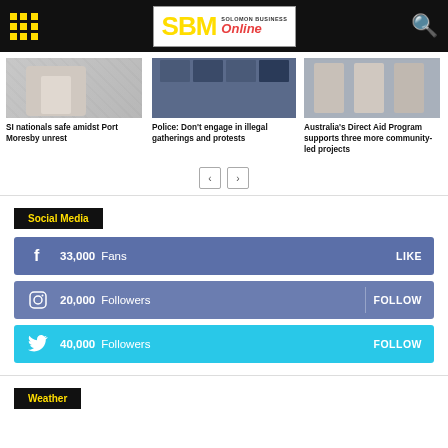SBM Solomon Business Online
[Figure (photo): Man in grey suit with pink tie]
SI nationals safe amidst Port Moresby unrest
[Figure (photo): Social media post thumbnails]
Police: Don't engage in illegal gatherings and protests
[Figure (photo): Group of people standing together]
Australia's Direct Aid Program supports three more community-led projects
Social Media
33,000  Fans  LIKE
20,000  Followers  FOLLOW
40,000  Followers  FOLLOW
Weather